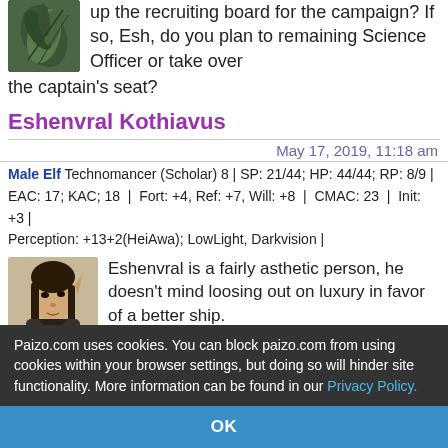up the recruiting board for the campaign? If so, Esh, do you plan to remaining Science Officer or take over the captain's seat?
Eshenvral Kothiavus
May 17, 2019, 11:18 am
Male Elf Technomancer (Scholar) 8 | SP: 21/44; HP: 44/44; RP: 8/9 | EAC: 17; KAC; 18 | Fort: +4, Ref: +7, Will: +8 | CMAC: 23 | Init: +3 | Perception: +13+2(HeiAwa); LowLight, Darkvision |
Eshenvral is a fairly asthetic person, he doesn't mind loosing out on luxury in favor of a better ship.
I don't have anyone active enough on the boards that I could call on for dropping in myself,
Paizo.com uses cookies. You can block paizo.com from using cookies within your browser settings, but doing so will hinder site functionality. More information can be found in our Privacy Policy.
OK